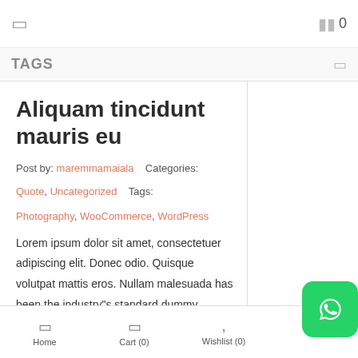☰  [cart icon] 0
TAGS
Aliquam tincidunt mauris eu
Post by: maremmamaiala   Categories:
Quote, Uncategorized   Tags:
Photography, WooCommerce, WordPress
Lorem ipsum dolor sit amet, consectetuer adipiscing elit. Donec odio. Quisque volutpat mattis eros. Nullam malesuada has been the industry"s standard dummy
Home   Cart (0)   Wishlist (0)   Lo...